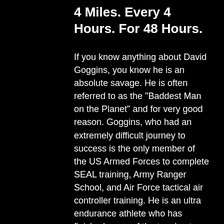4 Miles. Every 4 Hours. For 48 Hours.
If you know anything about David Goggins, you know he is an absolute savage. He is often referred to as the "Baddest Man on the Planet" and for very good reason. Goggins, who had an extremely difficult journey to success is the only member of the US Armed Forces to complete SEAL training, Army Ranger School, and Air Force tactical air controller training. He is an ultra endurance athlete who has finished some of the toughest footraces in the world including Badwater 135 and the Western States 100.